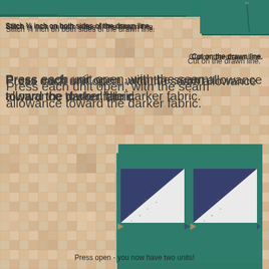[Figure (photo): Top area showing teal/green fabric pieces with stitching lines — partial view at top of page]
Stitch ¼ inch on both sides of the drawn line.
[Figure (photo): Small teal fabric square in top right corner]
Cut on the drawn line.
Press each unit open, with the seam allowance toward the darker fabric.
[Figure (photo): Two half-square triangle units on teal green mat showing navy blue and white fabric pressed open]
Press open - you now have two units!
Now square each unit to 2½ inches.
[Figure (photo): Bottom left photo showing a ruler being used to square up a half-square triangle unit on teal mat]
[Figure (photo): Bottom right photo showing teal fabric square, partial view]